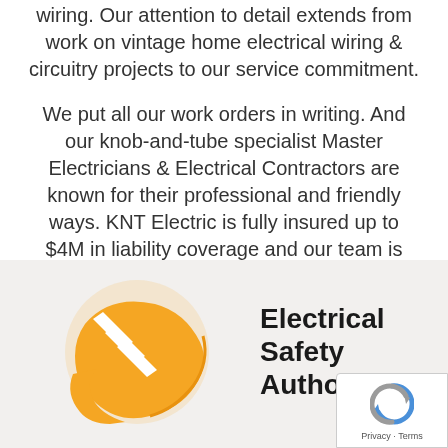wiring. Our attention to detail extends from work on vintage home electrical wiring & circuitry projects to our service commitment.
We put all our work orders in writing. And our knob-and-tube specialist Master Electricians & Electrical Contractors are known for their professional and friendly ways. KNT Electric is fully insured up to $4M in liability coverage and our team is covered by WSIB.
[Figure (logo): Electrical Safety Authority logo: orange circular swoosh/lightning bolt icon on the left, bold black text 'Electrical Safety Authority' on the right]
[Figure (other): reCAPTCHA badge with blue/grey circular arrow icon and 'Privacy · Terms' text]